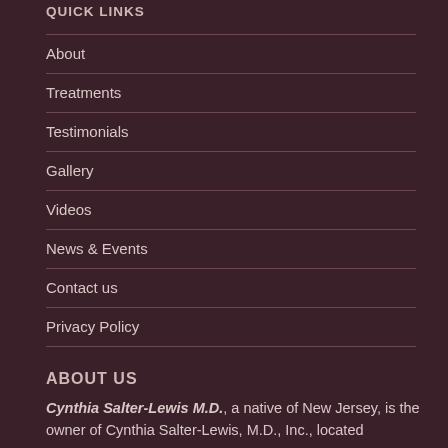QUICK LINKS
About
Treatments
Testimonials
Gallery
Videos
News & Events
Contact us
Privacy Policy
ABOUT US
Cynthia Salter-Lewis M.D., a native of New Jersey, is the owner of Cynthia Salter-Lewis, M.D., Inc., located